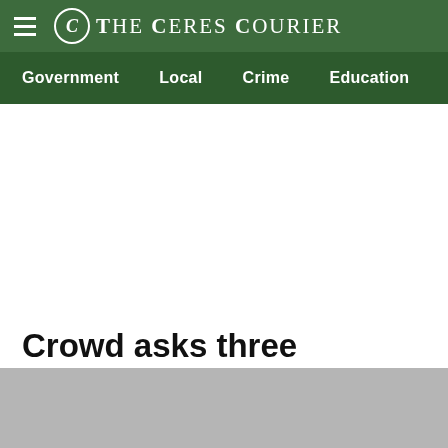The Ceres Courier
Government | Local | Crime | Education
Crowd asks three Hughson council members to quit
[Figure (photo): Gray placeholder image at bottom of page]